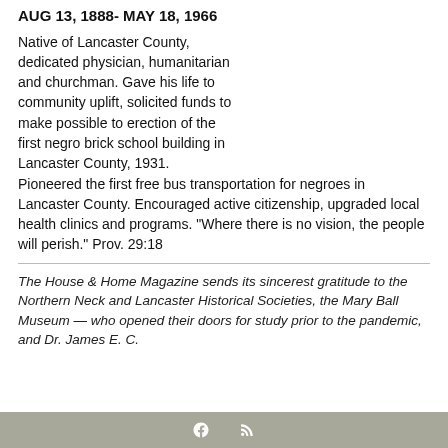AUG 13, 1888- MAY 18, 1966
Native of Lancaster County, dedicated physician, humanitarian and churchman. Gave his life to community uplift, solicited funds to make possible to erection of the first negro brick school building in Lancaster County, 1931. Pioneered the first free bus transportation for negroes in Lancaster County. Encouraged active citizenship, upgraded local health clinics and programs. "Where there is no vision, the people will perish." Prov. 29:18
The House & Home Magazine sends its sincerest gratitude to the Northern Neck and Lancaster Historical Societies, the Mary Ball Museum — who opened their doors for study prior to the pandemic, and Dr. James E. C. N...
f  rss